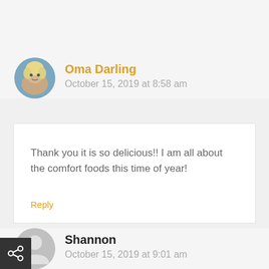Oma Darling
October 15, 2019 at 8:58 am
Thank you it is so delicious!! I am all about the comfort foods this time of year!
Reply
Shannon
October 15, 2019 at 9:01 am